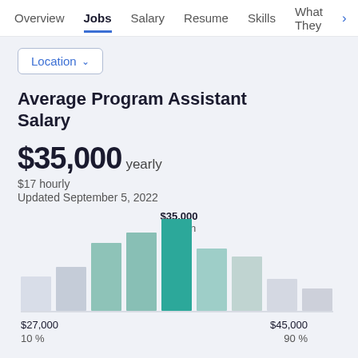Overview  Jobs  Salary  Resume  Skills  What They
Location
Average Program Assistant Salary
$35,000 yearly
$17 hourly
Updated September 5, 2022
[Figure (histogram): Average Program Assistant Salary Distribution]